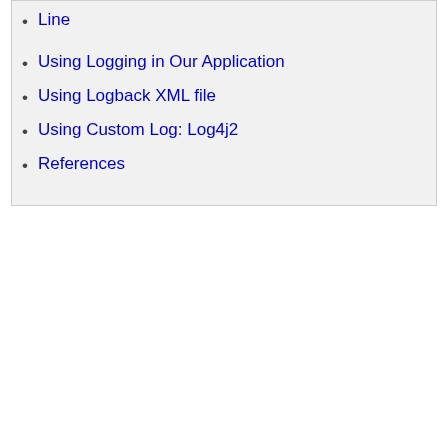Line
Using Logging in Our Application
Using Logback XML file
Using Custom Log: Log4j2
References